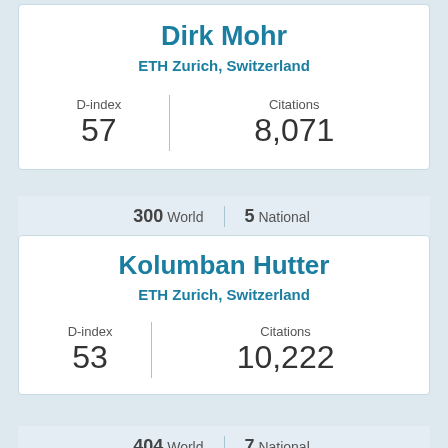Dirk Mohr
ETH Zurich, Switzerland
| D-index | Citations |
| --- | --- |
| 57 | 8,071 |
300 World | 5 National
Kolumban Hutter
ETH Zurich, Switzerland
| D-index | Citations |
| --- | --- |
| 53 | 10,222 |
404 World | 7 National
Lino Guzzella